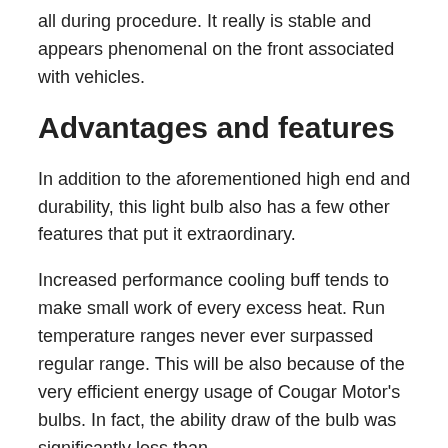all during procedure. It really is stable and appears phenomenal on the front associated with vehicles.
Advantages and features
In addition to the aforementioned high end and durability, this light bulb also has a few other features that put it extraordinary.
Increased performance cooling buff tends to make small work of every excess heat. Run temperature ranges never ever surpassed regular range. This will be also because of the very efficient energy usage of Cougar Motor's bulbs. In fact, the ability draw of the bulb was significantly less than